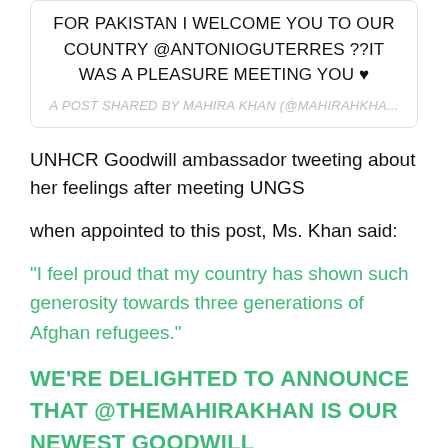FOR PAKISTAN I WELCOME YOU TO OUR COUNTRY @ANTONIOGUTERRES ??IT WAS A PLEASURE MEETING YOU ♥
A POST SHARED BY MAHIRA KHAN (@MAHIRAHKHA...
UNHCR Goodwill ambassador tweeting about her feelings after meeting UNGS
when appointed to this post, Ms. Khan said:
“I feel proud that my country has shown such generosity towards three generations of Afghan refugees.”
WE’RE DELIGHTED TO ANNOUNCE THAT @THEMAHIRAKHAN IS OUR NEWEST GOODWILL AMBASSADOR FOR PAKISTAN. ?